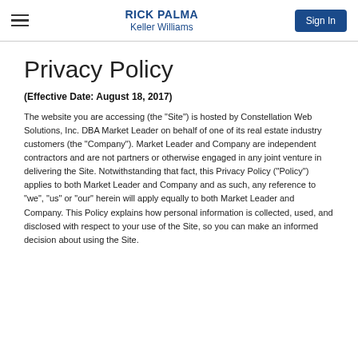RICK PALMA
Keller Williams
Privacy Policy
(Effective Date: August 18, 2017)
The website you are accessing (the "Site") is hosted by Constellation Web Solutions, Inc. DBA Market Leader on behalf of one of its real estate industry customers (the "Company"). Market Leader and Company are independent contractors and are not partners or otherwise engaged in any joint venture in delivering the Site. Notwithstanding that fact, this Privacy Policy ("Policy") applies to both Market Leader and Company and as such, any reference to "we", "us" or "our" herein will apply equally to both Market Leader and Company. This Policy explains how personal information is collected, used, and disclosed with respect to your use of the Site, so you can make an informed decision about using the Site.